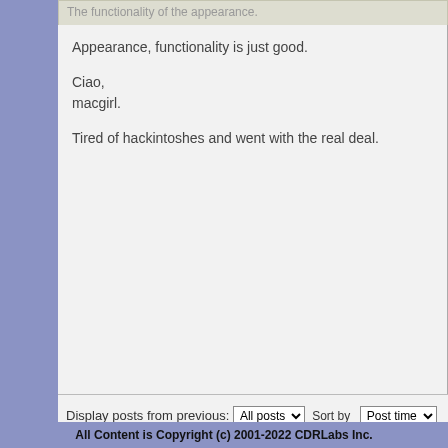The functionality of the appearance.
Appearance, functionality is just good.
Ciao,
macgirl.
Tired of hackintoshes and went with the real deal.
Display posts from previous: All posts  Sort by Post time
POSTREPLY
Return to Nero (Formerly Ahead Software)
Jump to: Nero (Formerly...
WHO IS ONLINE
Users browsing this forum: No registered users and 0 guests
Board index    The team • Delete all board
Powered by phpBB © 2000, 2002, 2005, 2007 phpBB
All Content is Copyright (c) 2001-2022 CDRLabs Inc.